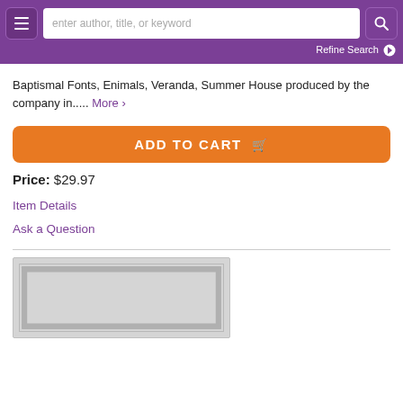enter author, title, or keyword | Refine Search
Baptismal Fonts, Enimals, Veranda, Summer House produced by the company in..... More >
ADD TO CART
Price: $29.97
Item Details
Ask a Question
[Figure (other): Product image placeholder — light gray rectangle with decorative border motif]